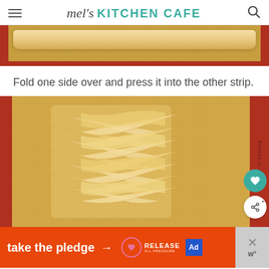mel's KITCHEN CAFE
[Figure (photo): Top cropped photo showing dough strip on a silicone baking mat with red border, viewed from above]
Fold one side over and press it into the other strip.
[Figure (photo): Photo of braided pastry dough on a silicone baking mat (made in France) with red borders on left and right sides; heart and share buttons overlay on the right side]
[Figure (other): Advertisement banner: 'take the pledge' with arrow, Release logo with heart, ad network logo, and close button]